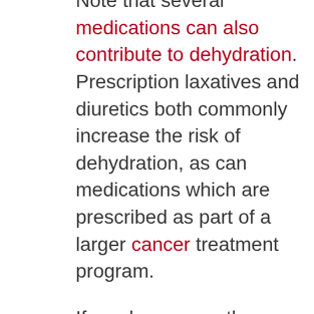Note that several medications can also contribute to dehydration. Prescription laxatives and diuretics both commonly increase the risk of dehydration, as can medications which are prescribed as part of a larger cancer treatment program.
If you have recently begun taking a new medication and noticed that your tolerances to heat and sun seem lower than usual, then it is highly advisable to consult your doctor. Pharmacology is too exact a science to risk making layman assumptions!
Would you like to know more about how Morgan Lane Village helps our residents